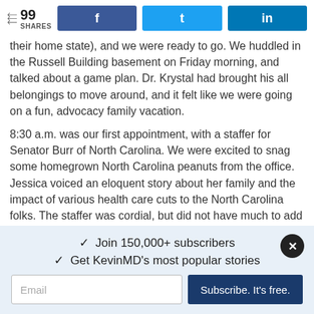[Figure (other): Social share bar with share count (99 SHARES) and Facebook, Twitter, LinkedIn buttons]
their home state), and we were ready to go. We huddled in the Russell Building basement on Friday morning, and talked about a game plan. Dr. Krystal had brought his all belongings to move around, and it felt like we were going on a fun, advocacy family vacation.
8:30 a.m. was our first appointment, with a staffer for Senator Burr of North Carolina. We were excited to snag some homegrown North Carolina peanuts from the office. Jessica voiced an eloquent story about her family and the impact of various health care cuts to the North Carolina folks. The staffer was cordial, but did not have much to add beyond that the Republican Senate bill was being worked on, and that it would
✓  Join 150,000+ subscribers
✓  Get KevinMD's most popular stories
Email
Subscribe. It's free.